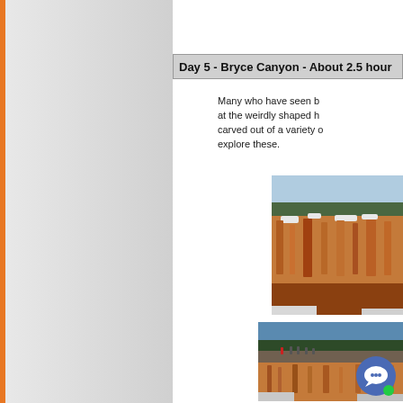Day 5  -  Bryce Canyon  -  About 2.5 hour
Many who have seen b... at the weirdly shaped h... carved out of a variety o... explore these.
[Figure (photo): Aerial view of Bryce Canyon with snow-dusted orange rock hoodoos and pine forests]
[Figure (photo): People standing on a canyon rim overlook with Bryce Canyon hoodoos below]